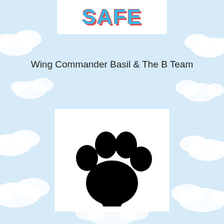[Figure (illustration): Light blue sky background with white fluffy clouds scattered throughout]
SAFE
Wing Commander Basil & The B Team
[Figure (illustration): Black paw print icon on white rectangular background]